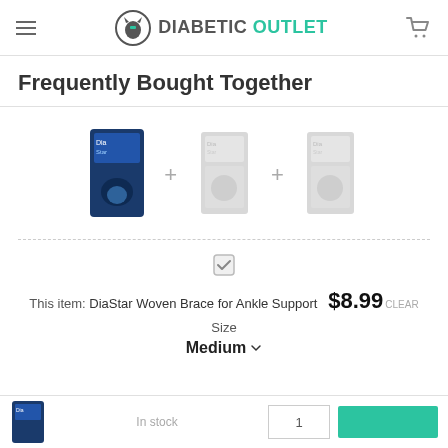Diabetic Outlet — navigation header with hamburger menu, logo, and cart icon
Frequently Bought Together
[Figure (photo): Three DiaStar product packages shown in a row separated by plus signs. First package is fully visible in blue/navy color, second and third are faded/greyed out.]
This item: DiaStar Woven Brace for Ankle Support  $8.99  CLEAR
Size
Medium
In stock